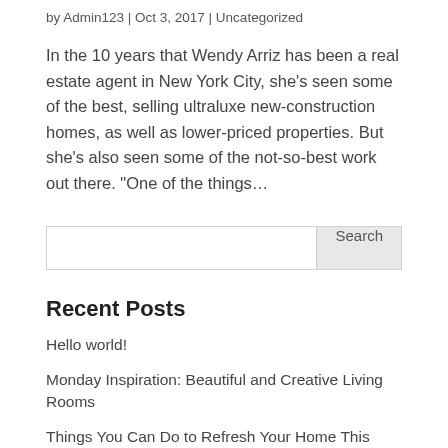by Admin123 | Oct 3, 2017 | Uncategorized
In the 10 years that Wendy Arriz has been a real estate agent in New York City, she’s seen some of the best, selling ultraluxe new-construction homes, as well as lower-priced properties. But she’s also seen some of the not-so-best work out there. “One of the things…
Search
Recent Posts
Hello world!
Monday Inspiration: Beautiful and Creative Living Rooms
Things You Can Do to Refresh Your Home This Weekend
Decorating On A Budget And How To Plan Kid’s...